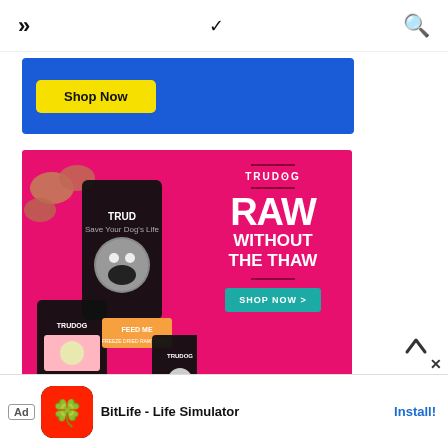[Figure (screenshot): Navigation bar with hamburger/double-chevron icon on left, chevron down in center, and search icon on right]
[Figure (screenshot): Blue advertisement banner with yellow 'Shop Now' button]
[Figure (photo): TruDog advertisement on pink background showing dog food packages and text 'RAW WITHOUT THE THAW' with teal 'SHOP NOW >' button]
[Figure (screenshot): Bottom ad banner for BitLife - Life Simulator app with 'Ad' label, game icon, app name, and 'Install!' button]